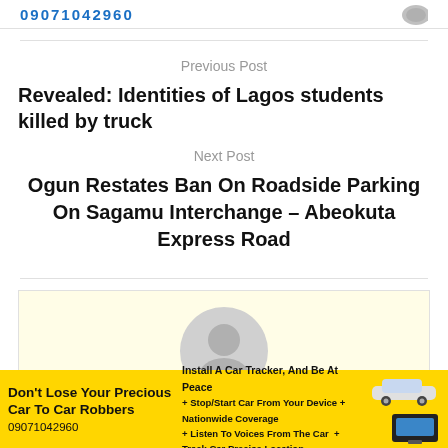09071042960
Previous Post
Revealed: Identities of Lagos students killed by truck
Next Post
Ogun Restates Ban On Roadside Parking On Sagamu Interchange – Abeokuta Express Road
[Figure (illustration): Generic user avatar placeholder icon (grey circle with person silhouette) inside a light yellow author box]
[Figure (infographic): Yellow advertisement banner: Don't Lose Your Precious Car To Car Robbers. Install A Car Tracker, And Be At Peace. Stop/Start Car From Your Device. Nationwide Coverage. Listen To Voices From The Car. Track Car Precise Location. 09071042960. Images of car and tracker device.]